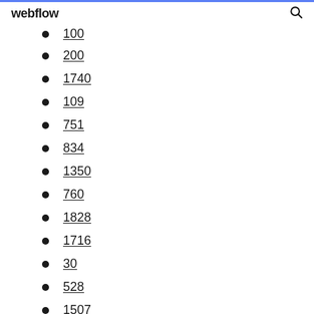webflow
100 (partial, top cut off)
200
1740
109
751
834
1350
760
1828
1716
30
528
1507